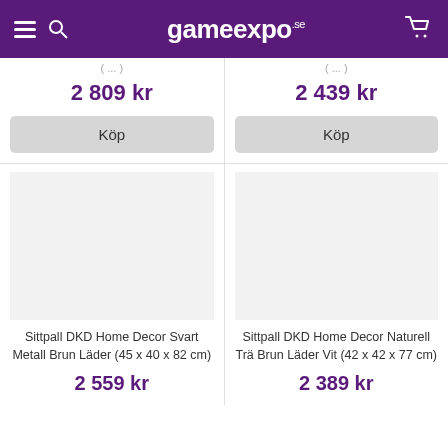gameexpo.se
2 809 kr
2 439 kr
Köp
Köp
Sittpall DKD Home Decor Svart Metall Brun Läder (45 x 40 x 82 cm)
Sittpall DKD Home Decor Naturell Trä Brun Läder Vit (42 x 42 x 77 cm)
2 559 kr
2 389 kr